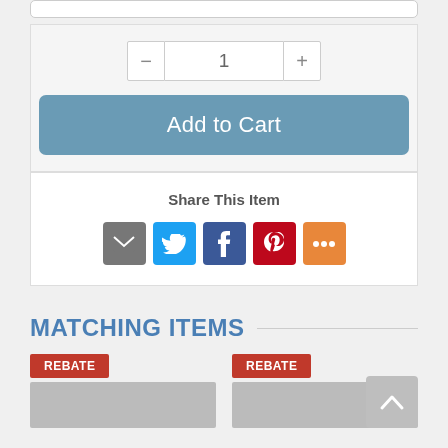[Figure (screenshot): E-commerce product page UI showing quantity selector, Add to Cart button, Share This Item section with social icons, Matching Items section header, and two Rebate product cards]
1
Add to Cart
Share This Item
MATCHING ITEMS
REBATE
REBATE